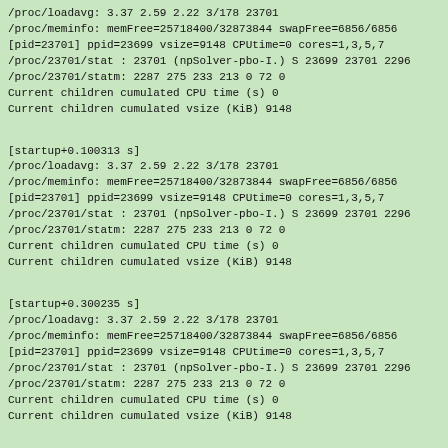/proc/loadavg: 3.37 2.59 2.22 3/178 23701
/proc/meminfo: memFree=25718400/32873844 swapFree=6856/6856
[pid=23701] ppid=23699 vsize=9148 CPUtime=0 cores=1,3,5,7
/proc/23701/stat : 23701 (npSolver-pbo-I.) S 23699 23701 2296
/proc/23701/statm: 2287 275 233 213 0 72 0
Current children cumulated CPU time (s) 0
Current children cumulated vsize (KiB) 9148
[startup+0.100313 s]
/proc/loadavg: 3.37 2.59 2.22 3/178 23701
/proc/meminfo: memFree=25718400/32873844 swapFree=6856/6856
[pid=23701] ppid=23699 vsize=9148 CPUtime=0 cores=1,3,5,7
/proc/23701/stat : 23701 (npSolver-pbo-I.) S 23699 23701 2296
/proc/23701/statm: 2287 275 233 213 0 72 0
Current children cumulated CPU time (s) 0
Current children cumulated vsize (KiB) 9148
[startup+0.300235 s]
/proc/loadavg: 3.37 2.59 2.22 3/178 23701
/proc/meminfo: memFree=25718400/32873844 swapFree=6856/6856
[pid=23701] ppid=23699 vsize=9148 CPUtime=0 cores=1,3,5,7
/proc/23701/stat : 23701 (npSolver-pbo-I.) S 23699 23701 2296
/proc/23701/statm: 2287 275 233 213 0 72 0
Current children cumulated CPU time (s) 0
Current children cumulated vsize (KiB) 9148
[startup+0.700264 s]
/proc/loadavg: 3.37 2.59 2.22 3/178 23701
/proc/meminfo: memFree=25718400/32873844 swapFree=6856/6856
[pid=23701] ppid=23699 vsize=9148 CPUtime=0 cores=1,3,5,7
/proc/23701/stat : 23701 (npSolver-pbo-I.) S 23699 23701 2296
/proc/23701/statm: 2287 275 233 213 0 72 0
Current children cumulated CPU time (s) 0